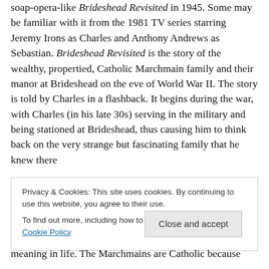Waugh, known for his numerous novels, published the soap-opera-like Brideshead Revisited in 1945. Some may be familiar with it from the 1981 TV series starring Jeremy Irons as Charles and Anthony Andrews as Sebastian. Brideshead Revisited is the story of the wealthy, propertied, Catholic Marchmain family and their manor at Brideshead on the eve of World War II. The story is told by Charles in a flashback. It begins during the war, with Charles (in his late 30s) serving in the military and being stationed at Brideshead, thus causing him to think back on the very strange but fascinating family that he knew there
Privacy & Cookies: This site uses cookies. By continuing to use this website, you agree to their use. To find out more, including how to control cookies, see here: Cookie Policy
Close and accept
meaning in life. The Marchmains are Catholic because